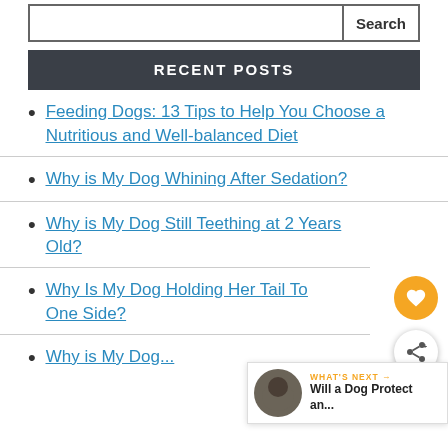Search
RECENT POSTS
Feeding Dogs: 13 Tips to Help You Choose a Nutritious and Well-balanced Diet
Why is My Dog Whining After Sedation?
Why is My Dog Still Teething at 2 Years Old?
Why Is My Dog Holding Her Tail To One Side?
Why is My Dog...